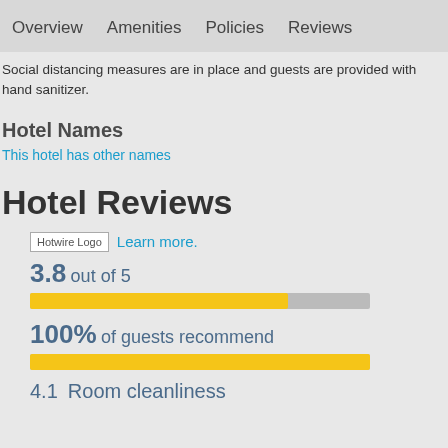Overview   Amenities   Policies   Reviews
Social distancing measures are in place and guests are provided with hand sanitizer.
Hotel Names
This hotel has other names
Hotel Reviews
[Figure (logo): Hotwire Logo placeholder image]
Learn more.
3.8 out of 5
[Figure (other): Progress bar showing 3.8 out of 5 rating, approximately 76% filled in yellow with remaining in gray]
100% of guests recommend
[Figure (other): Progress bar showing 100% recommendation, fully filled in yellow]
4.1  Room cleanliness